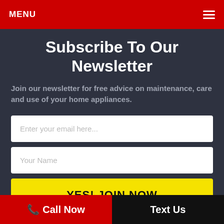MENU
Subscribe To Our Newsletter
Join our newsletter for free advice on maintenance, care and use of your home appliances.
Enter your email here...
Your Name
YES! JOIN NOW
Call Now  Text Us